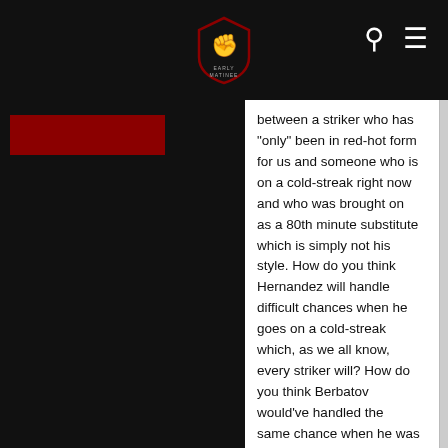Early Matinee (website logo/header with navigation icons)
between a striker who has "only" been in red-hot form for us and someone who is on a cold-streak right now and who was brought on as a 80th minute substitute which is simply not his style. How do you think Hernandez will handle difficult chances when he goes on a cold-streak which, as we all know, every striker will? How do you think Berbatov would've handled the same chance when he was blowing all hot last season before being dropped in favor of Chicha who was admittedly hotter? How do you think Wayne Rooney would've handled the same chance on his blip last season where I remember his missing similar opportunities?